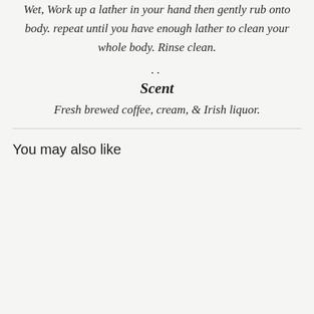Wet, Work up a lather in your hand then gently rub onto body. repeat until you have enough lather to clean your whole body. Rinse clean.
..
Scent
Fresh brewed coffee, cream, & Irish liquor.
You may also like